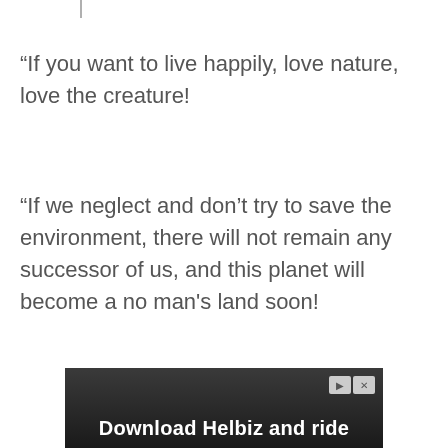“If you want to live happily, love nature, love the creature!
“If we neglect and don't try to save the environment, there will not remain any successor of us, and this planet will become a no man's land soon!
[Figure (screenshot): Advertisement banner for Helbiz scooter app at the bottom of the page. Shows a dark background with a scooter handlebar image on the left, play/close button controls top right, and bold white text reading 'Download Helbiz and ride'.]